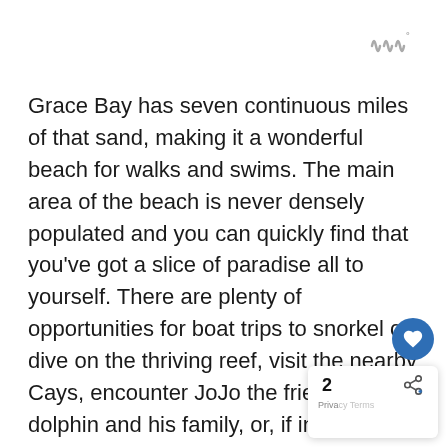[Figure (logo): Three wavy lines symbol with degree mark, gray color, top right corner]
Grace Bay has seven continuous miles of that sand, making it a wonderful beach for walks and swims. The main area of the beach is never densely populated and you can quickly find that you've got a slice of paradise all to yourself. There are plenty of opportunities for boat trips to snorkel or dive on the thriving reef, visit the nearby Cays, encounter JoJo the friendly dolphin and his family, or, if in the winter season, sight the large annual population of humpback whales who finish their migration at the Caicos banks to mate and have their calves.